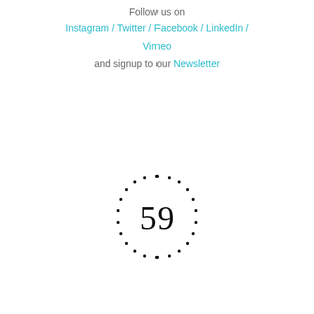Follow us on
Instagram / Twitter / Facebook / LinkedIn / Vimeo
and signup to our Newsletter
[Figure (logo): Number 59 in serif font surrounded by a circle of dots, serving as a logo or page number emblem]